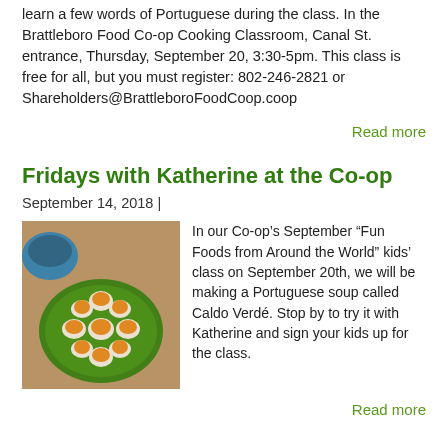learn a few words of Portuguese during the class.  In the Brattleboro Food Co-op Cooking Classroom, Canal St. entrance, Thursday, September 20, 3:30-5pm.  This class is free for all, but you must register: 802-246-2821 or Shareholders@BrattleboroFoodCoop.coop
Read more
Fridays with Katherine at the Co-op
September 14, 2018 |
[Figure (photo): Photo of small cups of orange soup (Caldo Verde) arranged on a green plate, with a blue bowl in the background]
In our Co-op’s September “Fun Foods from Around the World” kids’ class on September 20th, we will be making a Portuguese soup called Caldo Verdé. Stop by to try it with Katherine and sign your kids up for the class.
Read more